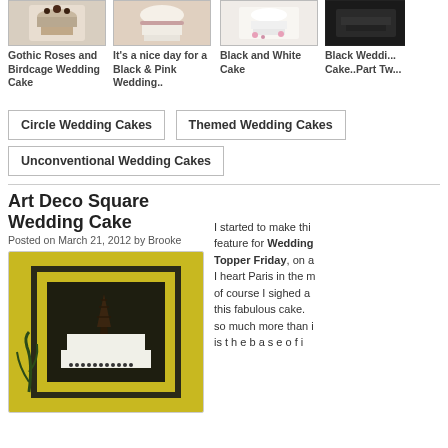[Figure (photo): Gothic Roses and Birdcage Wedding Cake thumbnail]
Gothic Roses and Birdcage Wedding Cake
[Figure (photo): It's a nice day for a Black & Pink Wedding.. thumbnail]
It's a nice day for a Black & Pink Wedding..
[Figure (photo): Black and White Cake thumbnail]
Black and White Cake
[Figure (photo): Black Wedding Cake..Part Two thumbnail]
Black Weddi... Cake..Part Tw...
Circle Wedding Cakes
Themed Wedding Cakes
Unconventional Wedding Cakes
Art Deco Square Wedding Cake
Posted on March 21, 2012 by Brooke
[Figure (photo): Art Deco Square Wedding Cake with Eiffel Tower topper, yellow and dark green/black background]
I started to make this feature for Wedding Topper Friday, on a I heart Paris in the m of course I sighed a this fabulous cake. so much more than i is t h e b a s e o f i